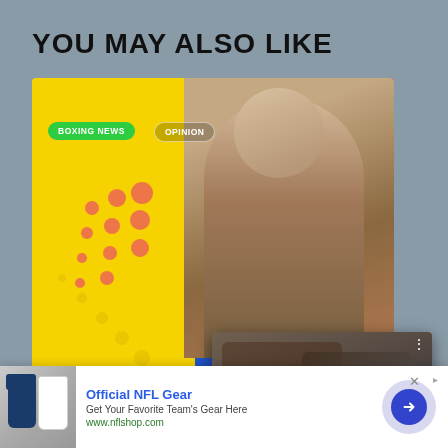YOU MAY ALSO LIKE
[Figure (photo): Boxing card image for Usyk vs Joshua 2 with colorful yellow, blue, and pink background with halftone dot pattern and fighter photo. Labels: BOXING NEWS, OPINION. Text: USYK VS. JOSHUA 2 AFTERMATH: DA...]
[Figure (photo): MMA fight photo showing Leon Edwards delivering a kick in an octagon. Blue octagon fence visible in background.]
Leon Edwards ralliesto
OLEKSANDR USY... AFTERMATH: DA...
[Figure (infographic): Advertisement banner: Official NFL Gear - Get Your Favorite Team's Gear Here - www.nflshop.com with NFL Patriots jersey image and circular arrow button]